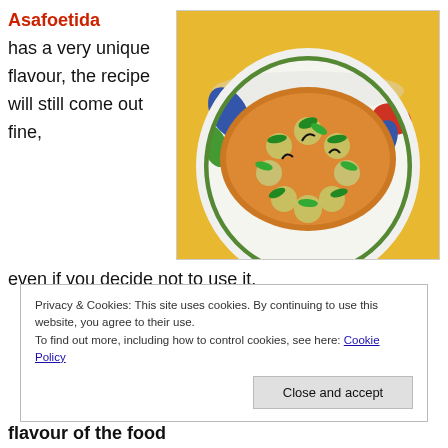Asafoetida
has a very unique flavour, the recipe will still come out fine, even if you decide not to use it.
[Figure (photo): A bowl of Indian curry/potato dish garnished with green herbs, served in a floral-patterned bowl on a yellow surface]
Privacy & Cookies: This site uses cookies. By continuing to use this website, you agree to their use.
To find out more, including how to control cookies, see here: Cookie Policy
Close and accept
flavour of the food